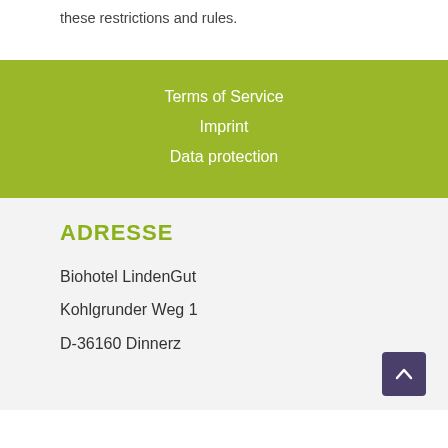these restrictions and rules.
Terms of Service
Imprint
Data protection
ADRESSE
Biohotel LindenGut
Kohlgrunder Weg 1
D-36160 Dinnerz